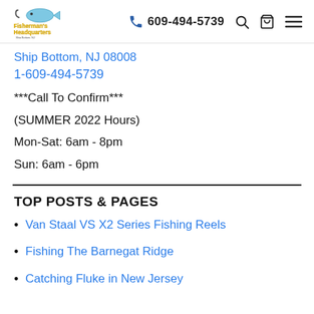Fisherman's Headquarters | 609-494-5739
Ship Bottom, NJ 08008
1-609-494-5739
***Call To Confirm***
(SUMMER 2022 Hours)
Mon-Sat: 6am - 8pm
Sun: 6am - 6pm
TOP POSTS & PAGES
Van Staal VS X2 Series Fishing Reels
Fishing The Barnegat Ridge
Catching Fluke in New Jersey